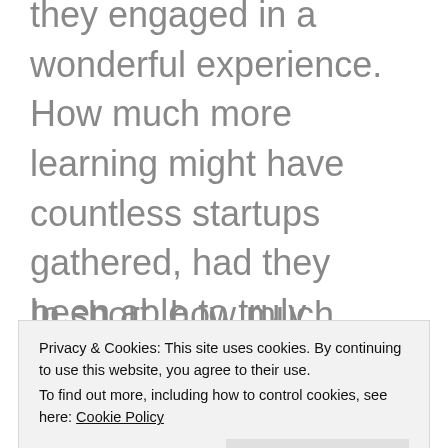they engaged in a wonderful experience. How much more learning might have countless startups gathered, had they been able to truly capture the real time intentions of their customers at such an event?
In short, how much have we lost as a society because we've failed to solve our own bandwidth problems?
Privacy & Cookies: This site uses cookies. By continuing to use this website, you agree to their use.
To find out more, including how to control cookies, see here: Cookie Policy
Close and accept
aance, right? OK, I get that, I trust me, I did